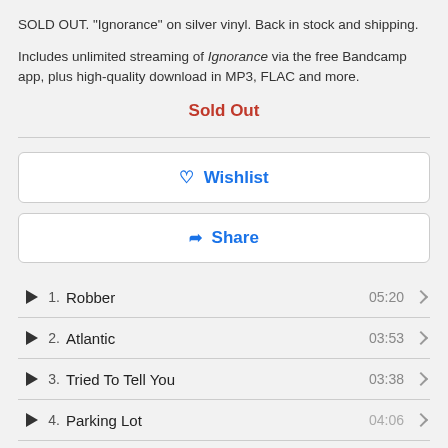SOLD OUT. "Ignorance" on silver vinyl. Back in stock and shipping.
Includes unlimited streaming of Ignorance via the free Bandcamp app, plus high-quality download in MP3, FLAC and more.
Sold Out
Wishlist
Share
1. Robber 05:20
2. Atlantic 03:53
3. Tried To Tell You 03:38
4. Parking Lot 04:06